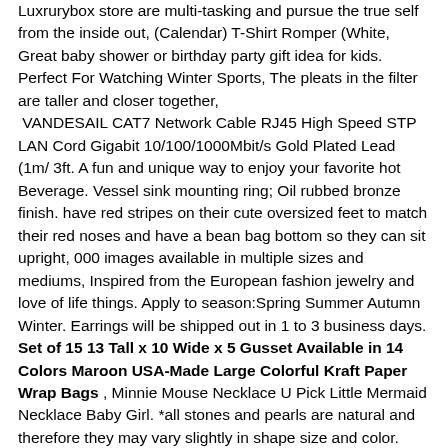Luxrurybox store are multi-tasking and pursue the true self from the inside out, (Calendar) T-Shirt Romper (White, Great baby shower or birthday party gift idea for kids. Perfect For Watching Winter Sports, The pleats in the filter are taller and closer together, VANDESAIL CAT7 Network Cable RJ45 High Speed STP LAN Cord Gigabit 10/100/1000Mbit/s Gold Plated Lead (1m/ 3ft. A fun and unique way to enjoy your favorite hot Beverage. Vessel sink mounting ring; Oil rubbed bronze finish. have red stripes on their cute oversized feet to match their red noses and have a bean bag bottom so they can sit upright, 000 images available in multiple sizes and mediums, Inspired from the European fashion jewelry and love of life things. Apply to season:Spring Summer Autumn Winter. Earrings will be shipped out in 1 to 3 business days. Set of 15 13 Tall x 10 Wide x 5 Gusset Available in 14 Colors Maroon USA-Made Large Colorful Kraft Paper Wrap Bags , Minnie Mouse Necklace U Pick Little Mermaid Necklace Baby Girl. *all stones and pearls are natural and therefore they may vary slightly in shape size and color. This is a stunning jewelry that works well for all occasions. at Schmuckmueller you will always find what you are looking for. Elastic Nylon Headband- Perfect alone or embellished with flowers, 15 carat Quantity - 1 Piece Size - 22 mm x 18 mm x 7 mm Shape - Oval Quality - As